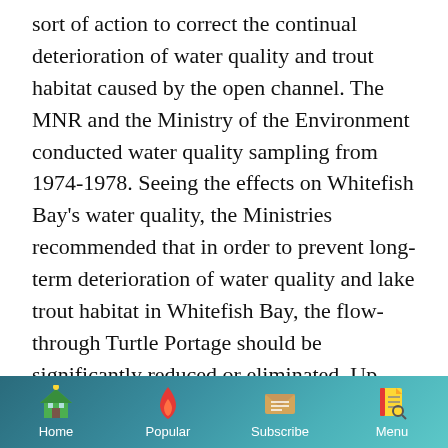sort of action to correct the continual deterioration of water quality and trout habitat caused by the open channel. The MNR and the Ministry of the Environment conducted water quality sampling from 1974-1978. Seeing the effects on Whitefish Bay's water quality, the Ministries recommended that in order to prevent long-term deterioration of water quality and lake trout habitat in Whitefish Bay, the flow-through Turtle Portage should be significantly reduced or eliminated. Up until 1978 the Dept. of Public Works/Transport Canada would not support
Home | Popular | Subscribe | Menu